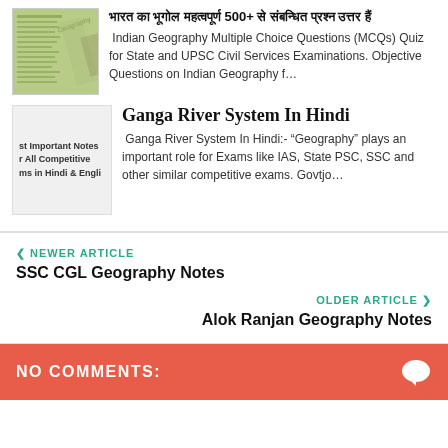[Figure (illustration): Thumbnail image of Indian Geography notes book with green cover]
भारत का भूगोल महत्वपूर्ण 500+ से संबन्धित प्रश्न उत्तर हैं
Indian Geography Multiple Choice Questions (MCQs) Quiz for State and UPSC Civil Services Examinations. Objective Questions on Indian Geography f...
[Figure (illustration): Thumbnail image with text: st Important Notes r All Competitive ms in Hindi & Engli]
Ganga River System In Hindi
Ganga River System In Hindi:- "Geography" plays an important role for Exams like IAS, State PSC, SSC and other similar competitive exams. Govtjo...
❮ NEWER ARTICLE
SSC CGL Geography Notes
OLDER ARTICLE ❯
Alok Ranjan Geography Notes
NO COMMENTS: